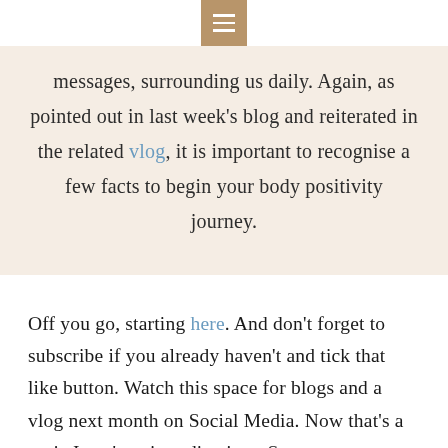[hamburger menu icon]
messages, surrounding us daily. Again, as pointed out in last week's blog and reiterated in the related vlog, it is important to recognise a few facts to begin your body positivity journey.
Off you go, starting here. And don't forget to subscribe if you already haven't and tick that like button. Watch this space for blogs and a vlog next month on Social Media. Now that's a topic I can't wait to dive into. See you next week.